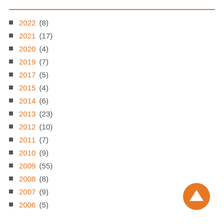2022 (8)
2021 (17)
2020 (4)
2019 (7)
2017 (5)
2015 (4)
2014 (6)
2013 (23)
2012 (10)
2011 (7)
2010 (9)
2009 (55)
2008 (8)
2007 (9)
2006 (5)
[Figure (illustration): Orange circular scroll-to-top button with upward triangle arrow icon]